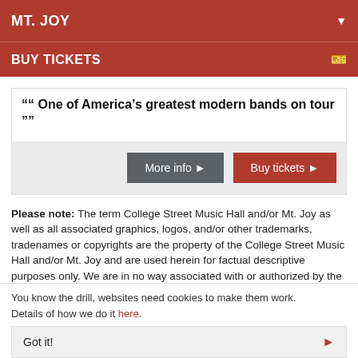MT. JOY
BUY TICKETS
““ One of America’s greatest modern bands on tour ””
[Figure (screenshot): Button row with 'More info' (dark grey) and 'Buy tickets' (red) buttons on a light grey background]
Please note: The term College Street Music Hall and/or Mt. Joy as well as all associated graphics, logos, and/or other trademarks, tradenames or copyrights are the property of the College Street Music Hall and/or Mt. Joy and are used herein for factual descriptive purposes only. We are in no way associated with or authorized by the
You know the drill, websites need cookies to make them work. Details of how we do it here.
Got it!